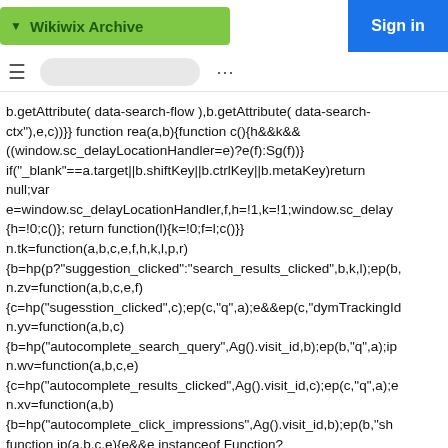Wikiwix Archive
b.getAttribute( data-search-flow ),b.getAttribute( data-search-ctx"),e,c))}} function rea(a,b){function c(){h&&k&&((window.sc_delayLocationHandler=e)?e(f):Sg(f))} if("_blank"==a.target||b.shiftKey||b.ctrlKey||b.metaKey)return null;var e=window.sc_delayLocationHandler,f,h=!1,k=!1;window.sc_delay{h=!0;c()}; return function(l){k=!0;f=l;c()}} n.tk=function(a,b,c,e,f,h,k,l,p,r) {b=hp(p?"suggestion_clicked":"search_results_clicked",b,k,l);ep(b, n.zv=function(a,b,c,e,f) {c=hp("sugesstion_clicked",c);ep(c,"q",a);e&&ep(c,"dymTrackingId n.yv=function(a,b,c) {b=hp("autocomplete_search_query",Ag().visit_id,b);ep(b,"q",a);ip n.wv=function(a,b,c,e) {c=hp("autocomplete_results_clicked",Ag().visit_id,c);ep(c,"q",a);e n.xv=function(a,b) {b=hp("autocomplete_click_impressions",Ag().visit_id,b);ep(b,"sh function ip(a,b,c,e){e&&e instanceof Function?(window.sc_searchMetricsLinkCallback=function() {e(c));ip(a,b,"sc_searchMetricsLinkCallback"));ip(a,b,"sc_nullFun